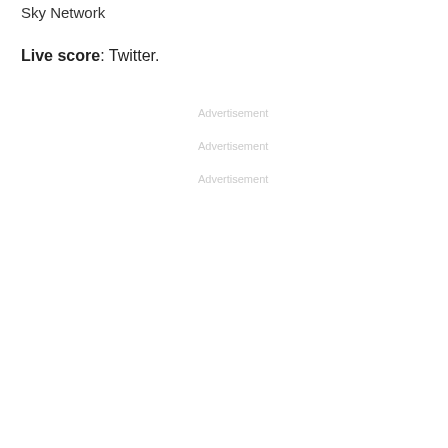Sky Network
Live score: Twitter.
Advertisement
Advertisement
Advertisement